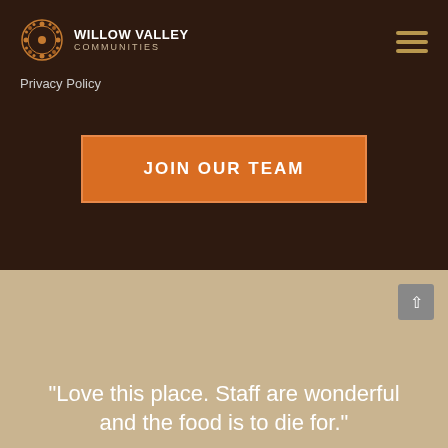WILLOW VALLEY COMMUNITIES
Privacy Policy
JOIN OUR TEAM
"Love this place. Staff are wonderful and the food is to die for."